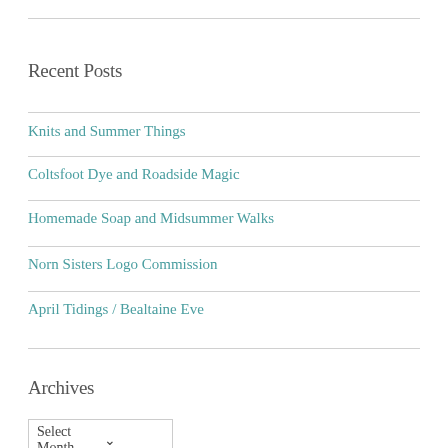Recent Posts
Knits and Summer Things
Coltsfoot Dye and Roadside Magic
Homemade Soap and Midsummer Walks
Norn Sisters Logo Commission
April Tidings / Bealtaine Eve
Archives
Select Month